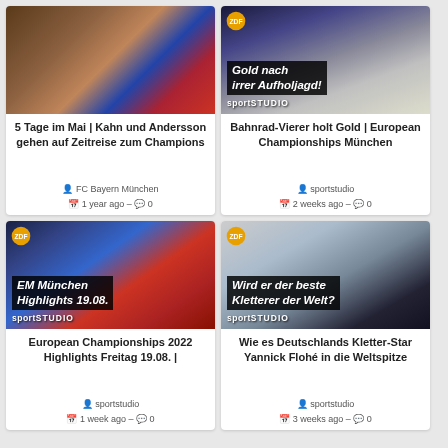[Figure (screenshot): Video thumbnail showing Oliver Kahn and celebrating FC Bayern München players]
5 Tage im Mai | Kahn und Andersson gehen auf Zeitreise zum Champions
FC Bayern München
1 year ago – 0
[Figure (screenshot): Video thumbnail of track cyclists with overlay text 'Gold nach irrer Aufholjagd!' and sportstudio branding]
Bahnrad-Vierer holt Gold | European Championships München
sportstudio
2 weeks ago – 0
[Figure (screenshot): Video thumbnail of athlete celebrating with overlay text 'EM München Highlights 19.08.' and sportstudio branding]
European Championships 2022 Highlights Freitag 19.08. |
sportstudio
1 week ago – 0
[Figure (screenshot): Video thumbnail of rock climber with overlay text 'Wird er der beste Kletterer der Welt?' and sportstudio branding]
Wie es Deutschlands Kletter-Star Yannick Flohé in die Weltspitze
sportstudio
3 weeks ago – 0